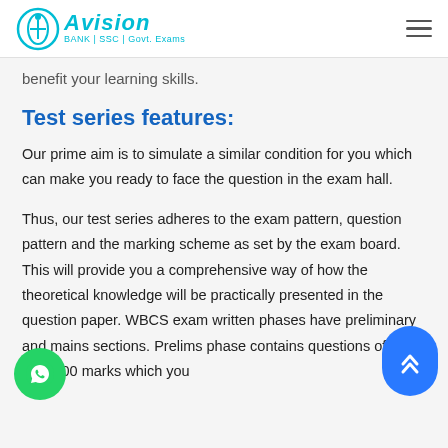Avision | BANK | SSC | Govt. Exams
benefit your learning skills.
Test series features:
Our prime aim is to simulate a similar condition for you which can make you ready to face the question in the exam hall.
Thus, our test series adheres to the exam pattern, question pattern and the marking scheme as set by the exam board. This will provide you a comprehensive way of how the theoretical knowledge will be practically presented in the question paper. WBCS exam written phases have preliminary and mains sections. Prelims phase contains questions of a total 200 marks which you